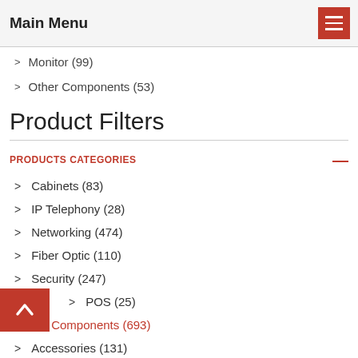Main Menu
Monitor (99)
Other Components (53)
Product Filters
PRODUCTS CATEGORIES
Cabinets (83)
IP Telephony (28)
Networking (474)
Fiber Optic (110)
Security (247)
POS (25)
PC Components (693)
Accessories (131)